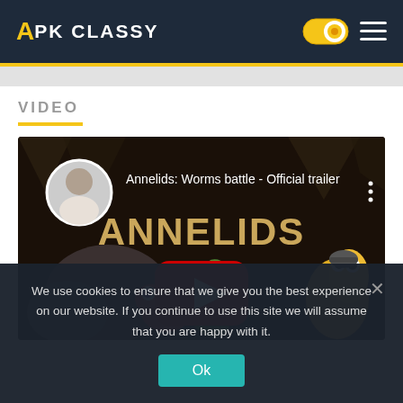APK CLASSY
VIDEO
[Figure (screenshot): YouTube video thumbnail for 'Annelids: Worms battle - Official trailer' showing cartoon worm characters and a YouTube play button overlay on a dark cave background]
We use cookies to ensure that we give you the best experience on our website. If you continue to use this site we will assume that you are happy with it.
Ok